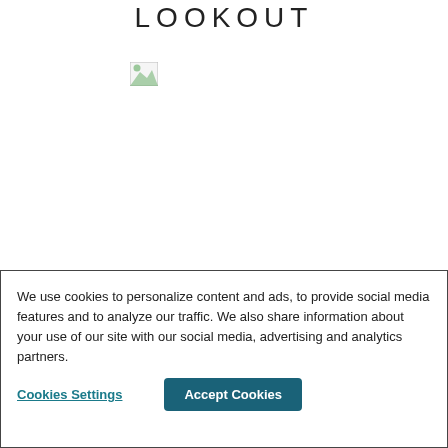LOOKOUT
[Figure (photo): Broken/missing image placeholder (small icon with green landscape thumbnail)]
BREWER
[Figure (photo): Broken/missing image placeholder (small icon with green landscape thumbnail)]
We use cookies to personalize content and ads, to provide social media features and to analyze our traffic. We also share information about your use of our site with our social media, advertising and analytics partners.
Cookies Settings
Accept Cookies